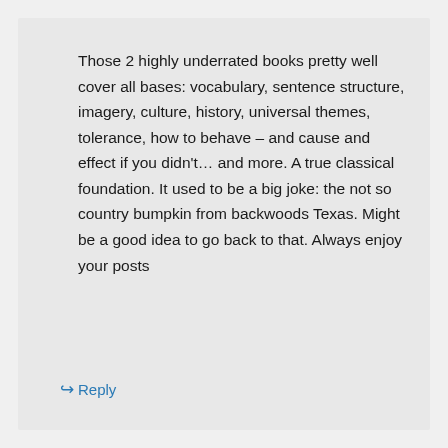Those 2 highly underrated books pretty well cover all bases: vocabulary, sentence structure, imagery, culture, history, universal themes, tolerance, how to behave – and cause and effect if you didn't… and more. A true classical foundation. It used to be a big joke: the not so country bumpkin from backwoods Texas. Might be a good idea to go back to that. Always enjoy your posts
↪ Reply